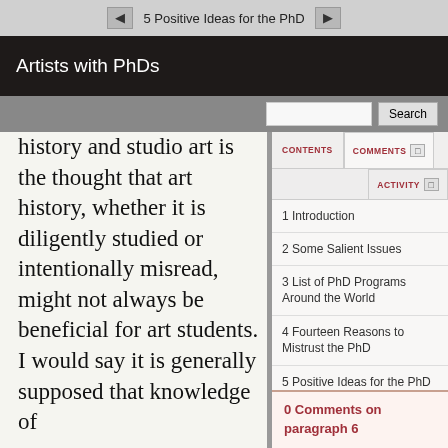5 Positive Ideas for the PhD
Artists with PhDs
history and studio art is the thought that art history, whether it is diligently studied or intentionally misread, might not always be beneficial for art students. I would say it is generally supposed that knowledge of
1 Introduction
2 Some Salient Issues
3 List of PhD Programs Around the World
4 Fourteen Reasons to Mistrust the PhD
5 Positive Ideas for the PhD
6 Six Cultures of the PhD Around the World
0 Comments on paragraph 6